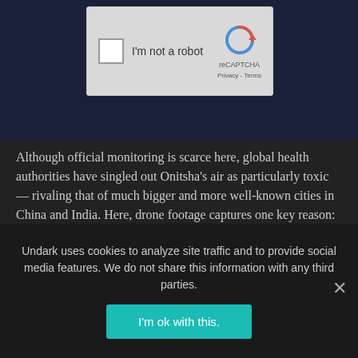[Figure (screenshot): reCAPTCHA widget with checkbox labeled I'm not a robot and reCAPTCHA logo with Privacy and Terms links]
Although official monitoring is scarce here, global health authorities have singled out Onitsha's air as particularly toxic — rivaling that of much bigger and more well-known cities in China and India. Here, drone footage captures one key reason: the perpetual burning of trash in and around the port city.
Undark uses cookies to analyze site traffic and to provide social media features. We do not share this information with any third parties.